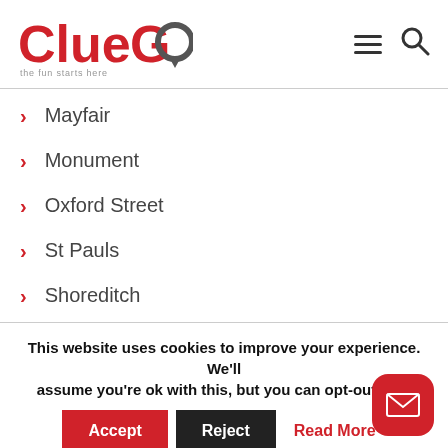[Figure (logo): ClueGo logo with 'the fun starts here' tagline, hamburger menu icon, and search icon]
Mayfair
Monument
Oxford Street
St Pauls
Shoreditch
This website uses cookies to improve your experience. We'll assume you're ok with this, but you can opt-out if yo
Accept | Reject | Read More